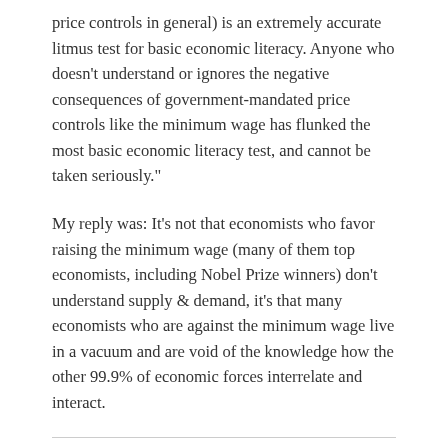price controls in general) is an extremely accurate litmus test for basic economic literacy. Anyone who doesn’t understand or ignores the negative consequences of government-mandated price controls like the minimum wage has flunked the most basic economic literacy test, and cannot be taken seriously.”
My reply was: It’s not that economists who favor raising the minimum wage (many of them top economists, including Nobel Prize winners) don’t understand supply & demand, it’s that many economists who are against the minimum wage live in a vacuum and are void of the knowledge how the other 99.9% of economic forces interrelate and interact.
Kevin Erdmann
May 27, 2014 at 8:33 pm